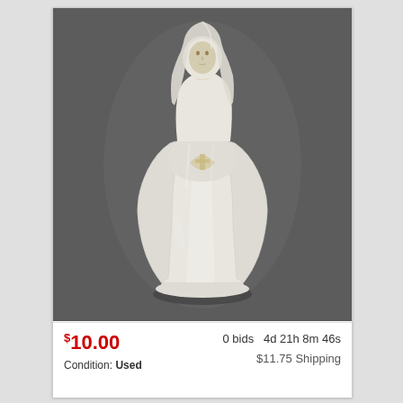[Figure (photo): A white/cream glazed ceramic figurine of a female figure (possibly Virgin Mary or an angel) holding a dove, standing on a decorative base, photographed against a dark gray background.]
$10.00
Condition: Used
0 bids  4d 21h 8m 46s
$11.75 Shipping